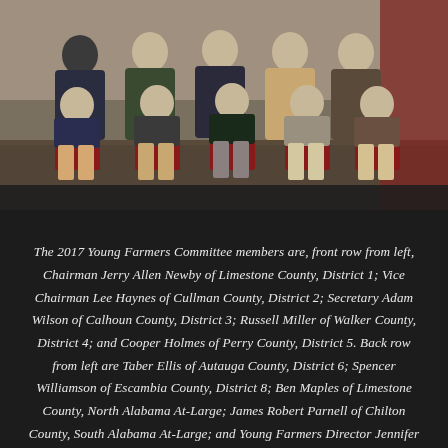[Figure (photo): Group photo of the 2017 Young Farmers Committee members seated in two rows on chairs in what appears to be a banquet or meeting hall setting.]
The 2017 Young Farmers Committee members are, front row from left, Chairman Jerry Allen Newby of Limestone County, District 1; Vice Chairman Lee Haynes of Cullman County, District 2; Secretary Adam Wilson of Calhoun County, District 3; Russell Miller of Walker County, District 4; and Cooper Holmes of Perry County, District 5. Back row from left are Taber Ellis of Autauga County, District 6; Spencer Williamson of Escambia County, District 8; Ben Maples of Limestone County, North Alabama At-Large; James Robert Parnell of Chilton County, South Alabama At-Large; and Young Farmers Director Jennifer Himburg. Not pictured is Matthew Gunter of Crenshaw County, District 7.